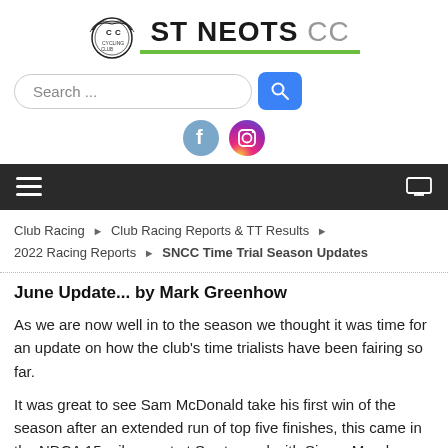[Figure (logo): St Neots CC cycling club logo with emblem and green underline]
[Figure (screenshot): Search bar with text input and blue search button]
[Figure (infographic): Social media icons: Facebook and Instagram circles]
[Figure (screenshot): Dark navigation bar with hamburger menu icon and monitor icon]
Club Racing ▶ Club Racing Reports & TT Results ▶ 2022 Racing Reports ▶ SNCC Time Trial Season Updates
June Update... by Mark Greenhow
As we are now well in to the season we thought it was time for an update on how the club's time trialists have been fairing so far.
It was great to see Sam McDonald take his first win of the season after an extended run of top five finishes, this came in the NDCA 15 mile event at Sawtry and with Simon Murphy third and Mark